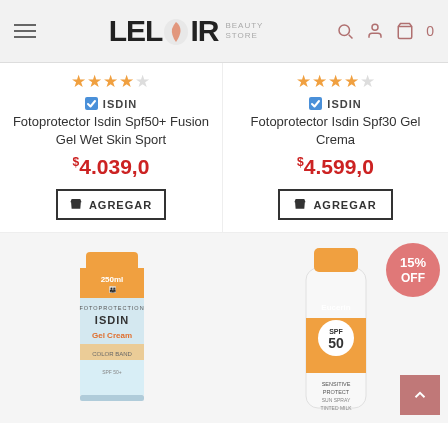LELOIR BEAUTY STORE
★★★★☆ ISDIN Fotoprotector Isdin Spf50+ Fusion Gel Wet Skin Sport $4.039,0 AGREGAR
★★★★☆ ISDIN Fotoprotector Isdin Spf30 Gel Crema $4.599,0 AGREGAR
[Figure (photo): ISDIN Fotoprotection Gel Cream product tube, 250ml family size]
[Figure (photo): Eucerin Sensitive Protect Sun Spray SPF50 product bottle with 15% OFF badge]